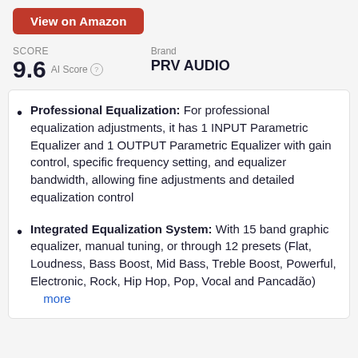View on Amazon
SCORE 9.6 AI Score
Brand PRV AUDIO
Professional Equalization: For professional equalization adjustments, it has 1 INPUT Parametric Equalizer and 1 OUTPUT Parametric Equalizer with gain control, specific frequency setting, and equalizer bandwidth, allowing fine adjustments and detailed equalization control
Integrated Equalization System: With 15 band graphic equalizer, manual tuning, or through 12 presets (Flat, Loudness, Bass Boost, Mid Bass, Treble Boost, Powerful, Electronic, Rock, Hip Hop, Pop, Vocal and Pancadão) more